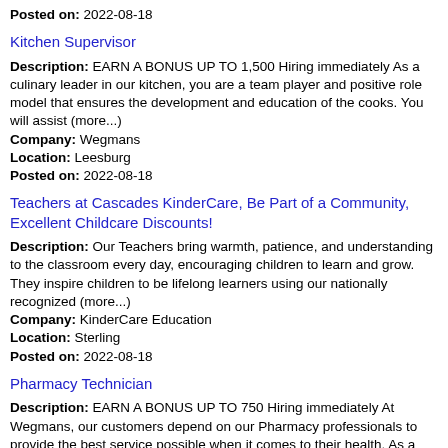Posted on: 2022-08-18
Kitchen Supervisor
Description: EARN A BONUS UP TO 1,500 Hiring immediately As a culinary leader in our kitchen, you are a team player and positive role model that ensures the development and education of the cooks. You will assist (more...) Company: Wegmans Location: Leesburg Posted on: 2022-08-18
Teachers at Cascades KinderCare, Be Part of a Community, Excellent Childcare Discounts!
Description: Our Teachers bring warmth, patience, and understanding to the classroom every day, encouraging children to learn and grow. They inspire children to be lifelong learners using our nationally recognized (more...) Company: KinderCare Education Location: Sterling Posted on: 2022-08-18
Pharmacy Technician
Description: EARN A BONUS UP TO 750 Hiring immediately At Wegmans, our customers depend on our Pharmacy professionals to provide the best service possible when it comes to their health. As a Pharmacy Technician, (more...) Company: Wegmans